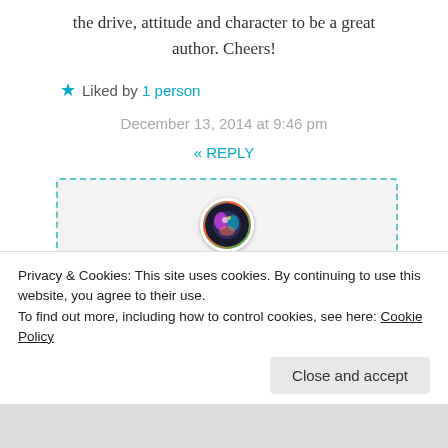the drive, attitude and character to be a great author. Cheers!
Liked by 1 person
December 13, 2014 at 9:46 pm
« REPLY
[Figure (photo): Circular avatar with colorful abstract/creature design on dark background]
Selima and the Merfolk says:
You just made my entire week. Thanks for the support. I'm so excited that people are reading it
Privacy & Cookies: This site uses cookies. By continuing to use this website, you agree to their use.
To find out more, including how to control cookies, see here: Cookie Policy
Close and accept